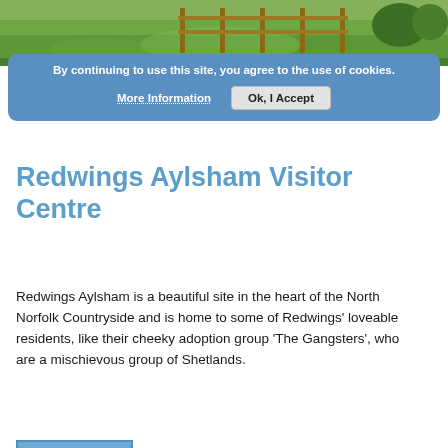[Figure (photo): Top photo showing green grassy field with fence posts in background at a visitor centre]
By continuing to use this site, you agree to the use of cookies. More Information Ok, I Accept
Redwings Aylsham Visitor Centre
Redwings Aylsham is a beautiful site in the heart of the North Norfolk Countryside and is home to some of Redwings' loveable residents, like their cheeky adoption group 'The Gangsters', who are a mischievous group of Shetlands.
Read More »
[Figure (photo): Bottom photo showing outdoor event setup with green shed, white tent/marquee, and a sign reading Eric's Pizza]